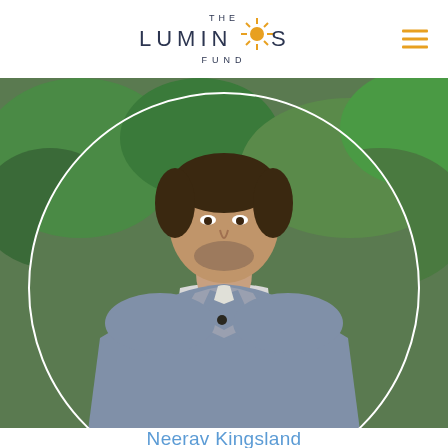[Figure (logo): The Luminos Fund logo with sun/star symbol between LUMIN and S in the word LUMINOS, dark navy text with golden star, hamburger menu icon in orange on right]
[Figure (photo): Circular profile photo of Neerav Kingsland, a man wearing a grey shawl-neck sweater with a button, photographed outdoors with green foliage in background]
Neerav Kingsland
We use cookies in order to give you the best possible experience on our website. By continuing to use this site, you agree to our use of cookies.
Accept
Reject
Our Privacy Policy